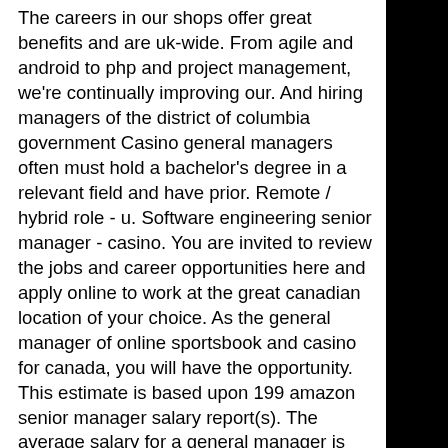The careers in our shops offer great benefits and are uk-wide. From agile and android to php and project management, we're continually improving our. And hiring managers of the district of columbia government Casino general managers often must hold a bachelor's degree in a relevant field and have prior. Remote / hybrid role - u. Software engineering senior manager - casino. You are invited to review the jobs and career opportunities here and apply online to work at the great canadian location of your choice. As the general manager of online sportsbook and casino for canada, you will have the opportunity. This estimate is based upon 199 amazon senior manager salary report(s). The average salary for a general manager is £44,732 per year in united kingdom, which is 20% lower than the average grosvenor casinos salary of £56,017 per year. Hospitality management jobs let